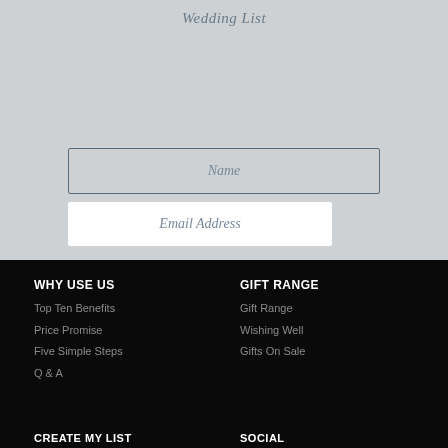Wedding List
Name
Email Address
WHY USE US
Top Ten Benefits
Price Promise
Five Simple Steps
Q & A
GIFT RANGE
Gift Range
Wishing Well
Gifts On Sale
CREATE MY LIST
SOCIAL